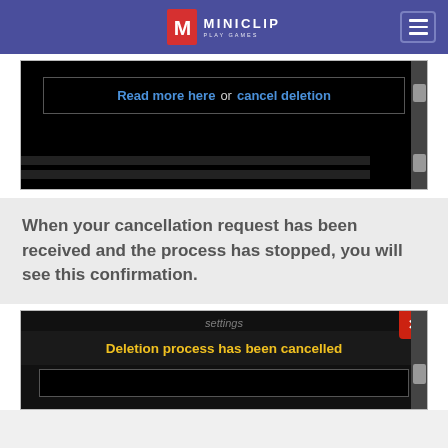Miniclip – Play Games
[Figure (screenshot): Screenshot of a game interface showing a dark screen with a modal box containing the text 'Read more here or cancel deletion' with blue hyperlinks]
When your cancellation request has been received and the process has stopped, you will see this confirmation.
[Figure (screenshot): Screenshot of game interface showing a dark screen with a modal dialog titled 'Deletion process has been cancelled' in yellow text, with a red X close button in the top right corner]